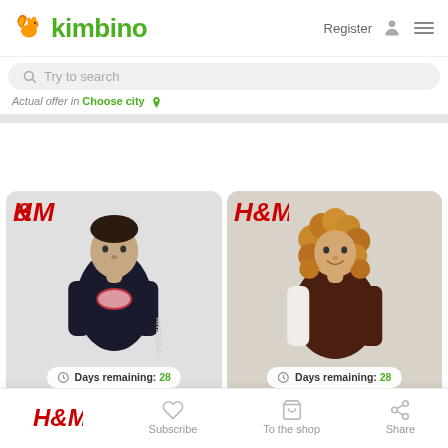kimbino
Register
Try to search
Actual offer in Choose city
[Figure (photo): H&M product card showing a boy wearing a black oversized t-shirt with an oval logo graphic. H&M logo in red at top left. Days remaining: 28 badge at bottom.]
[Figure (photo): H&M product card showing a girl with curly blonde hair wearing a brown and white varsity-style jacket/top. H&M logo in red at top left. Days remaining: 28 badge at bottom.]
H&M
Subscribe
To the shop
Share